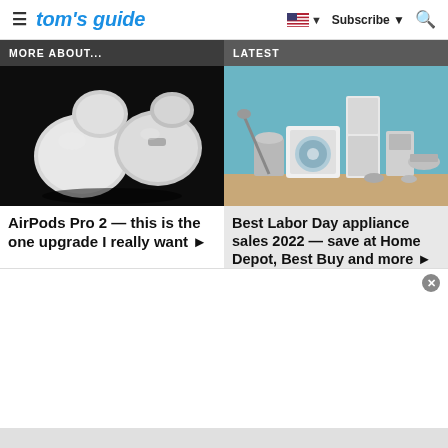tom's guide — Subscribe
MORE ABOUT...
LATEST
[Figure (photo): AirPods Pro 2 earbuds on dark background]
AirPods Pro 2 — this is the one upgrade I really want ▶
[Figure (photo): Collection of home appliances including washer, mixer, and other kitchen appliances on teal/blue background]
Best Labor Day appliance sales 2022 — save at Home Depot, Best Buy and more ▶